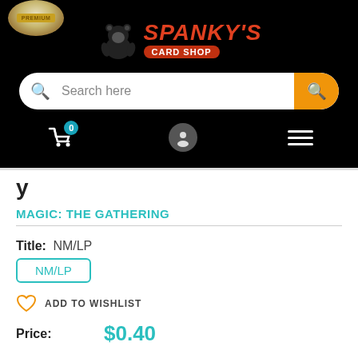[Figure (logo): Spanky's Card Shop logo with gorilla mascot on black background]
[Figure (screenshot): Search bar with orange search button]
[Figure (screenshot): Navigation icons: cart with badge 0, user icon, hamburger menu]
MAGIC: THE GATHERING
Title: NM/LP
NM/LP
ADD TO WISHLIST
Price: $0.40
Stock: In stock (9 units), ready to be shipped